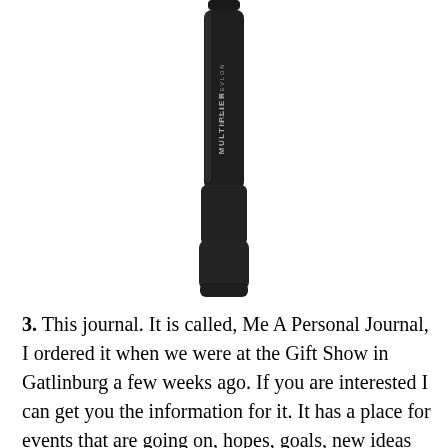[Figure (photo): Revlon Mega Multiplier mascara tube, black cylindrical product, photographed vertically against white background]
3.  This journal.  It is called, Me A Personal Journal, I ordered it when we were at the Gift Show in Gatlinburg a few weeks ago.  If you are interested I can get you the information for it.  It has a place for events that are going on, hopes, goals, new ideas etc.  and then a full page to write whatever you want.  I love this and have been keeping it beside my